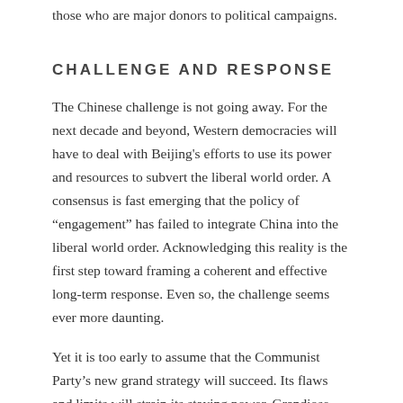those who are major donors to political campaigns.
CHALLENGE AND RESPONSE
The Chinese challenge is not going away. For the next decade and beyond, Western democracies will have to deal with Beijing's efforts to use its power and resources to subvert the liberal world order. A consensus is fast emerging that the policy of “engagement” has failed to integrate China into the liberal world order. Acknowledging this reality is the first step toward framing a coherent and effective long-term response. Even so, the challenge seems ever more daunting.
Yet it is too early to assume that the Communist Party’s new grand strategy will succeed. Its flaws and limits will strain its staying power. Grandiose